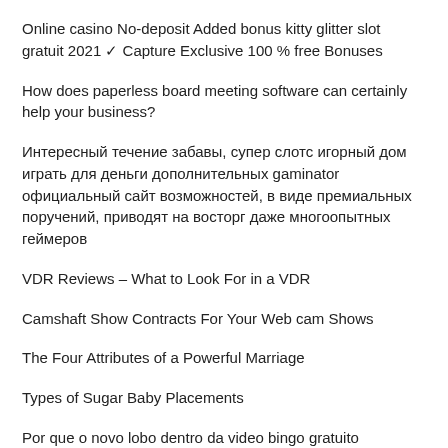Online casino No-deposit Added bonus kitty glitter slot gratuit 2021 ✓ Capture Exclusive 100 % free Bonuses
How does paperless board meeting software can certainly help your business?
Интересный течение забавы, супер слотс игорный дом играть для деньги дополнительных gaminator официальный сайт возможностей, в виде премиальных поручений, приводят на восторг даже многоопытных геймеров
VDR Reviews – What to Look For in a VDR
Camshaft Show Contracts For Your Web cam Shows
The Four Attributes of a Powerful Marriage
Types of Sugar Baby Placements
Por que o novo lobo dentro da video bingo gratuito Chapeuzinho Vermelho não é uma porcaria